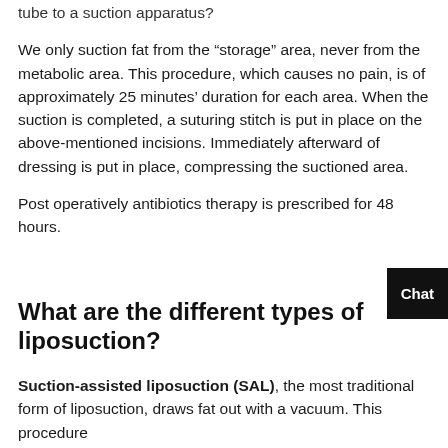tube to a suction apparatus?
We only suction fat from the “storage” area, never from the metabolic area. This procedure, which causes no pain, is of approximately 25 minutes’ duration for each area. When the suction is completed, a suturing stitch is put in place on the above-mentioned incisions. Immediately afterward of dressing is put in place, compressing the suctioned area.
Post operatively antibiotics therapy is prescribed for 48 hours.
What are the different types of liposuction?
Suction-assisted liposuction (SAL), the most traditional form of liposuction, draws fat out with a vacuum. This procedure